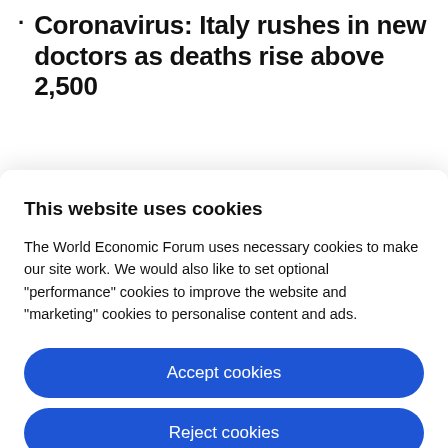Coronavirus: Italy rushes in new doctors as deaths rise above 2,500
This website uses cookies
The World Economic Forum uses necessary cookies to make our site work. We would also like to set optional “performance” cookies to improve the website and “marketing” cookies to personalise content and ads.
Accept cookies
Reject cookies
Cookie settings